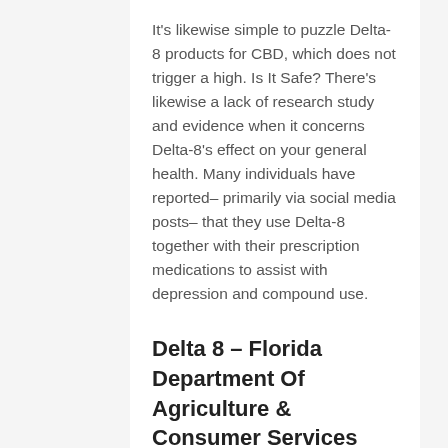It's likewise simple to puzzle Delta-8 products for CBD, which does not trigger a high. Is It Safe? There's likewise a lack of research study and evidence when it concerns Delta-8's effect on your general health. Many individuals have reported– primarily via social media posts– that they use Delta-8 together with their prescription medications to assist with depression and compound use.
Delta 8 – Florida Department Of Agriculture & Consumer Services